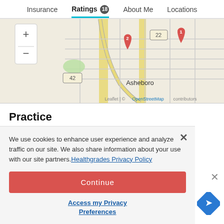Insurance | Ratings 18 | About Me | Locations
[Figure (map): Street map of Asheboro area showing two red location pins labeled 1 and 2, with zoom controls, road number markers 22 and 42, and Leaflet/OpenStreetMap attribution.]
Practice
Wallace Dental & TMJ
We use cookies to enhance user experience and analyze traffic on our site. We also share information about your use with our site partners. Healthgrades Privacy Policy
Continue
Access my Privacy Preferences